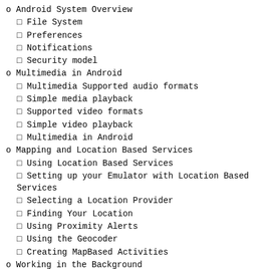o Android System Overview
▪ File System
▪ Preferences
▪ Notifications
▪ Security model
o Multimedia in Android
▪ Multimedia Supported audio formats
▪ Simple media playback
▪ Supported video formats
▪ Simple video playback
▪ Multimedia in Android
o Mapping and Location Based Services
▪ Using Location Based Services
▪ Setting up your Emulator with Location Based Services
▪ Selecting a Location Provider
▪ Finding Your Location
▪ Using Proximity Alerts
▪ Using the Geocoder
▪ Creating MapBased Activities
o Working in the Background
▪ Introducing Services
▪ Using Background Threads...